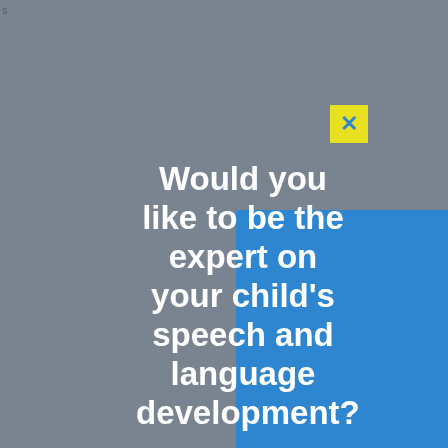[Figure (screenshot): A popup/modal overlay on a gray background. A blue rectangular panel with a yellow X close button in the top-right corner. The panel contains large white bold text reading: 'Would you like to be the expert on your child's speech and language development?']
Would you like to be the expert on your child's speech and language development?